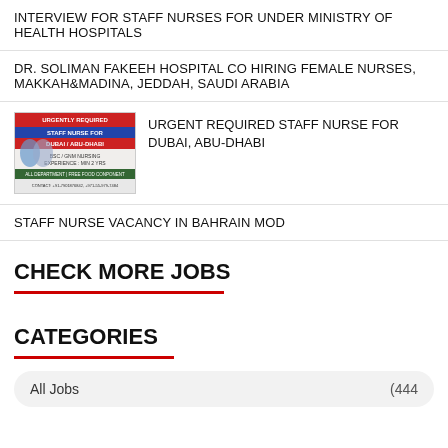INTERVIEW FOR STAFF NURSES FOR UNDER MINISTRY OF HEALTH HOSPITALS
DR. SOLIMAN FAKEEH HOSPITAL CO HIRING FEMALE NURSES, MAKKAH&MADINA, JEDDAH, SAUDI ARABIA
[Figure (other): Advertisement image for urgently required staff nurse for Dubai / Abu-Dhabi]
URGENT REQUIRED STAFF NURSE FOR DUBAI, ABU-DHABI
STAFF NURSE VACANCY IN BAHRAIN MOD
CHECK MORE JOBS
CATEGORIES
All Jobs (444)